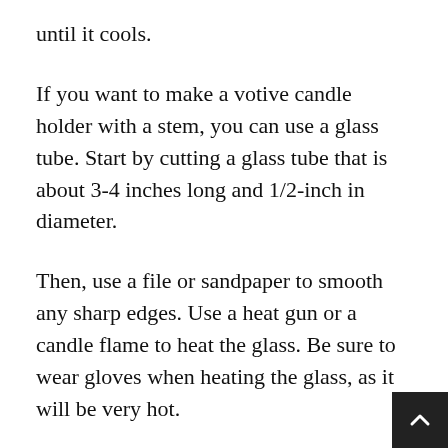until it cools.
If you want to make a votive candle holder with a stem, you can use a glass tube. Start by cutting a glass tube that is about 3-4 inches long and 1/2-inch in diameter.
Then, use a file or sandpaper to smooth any sharp edges. Use a heat gun or a candle flame to heat the glass. Be sure to wear gloves when heating the glass, as it will be very hot.
Once the glass is hot, bend it into a cup shape. You can use a metal spoon or a chopstick to help you bend the glass. Hold the glass in the desired sha